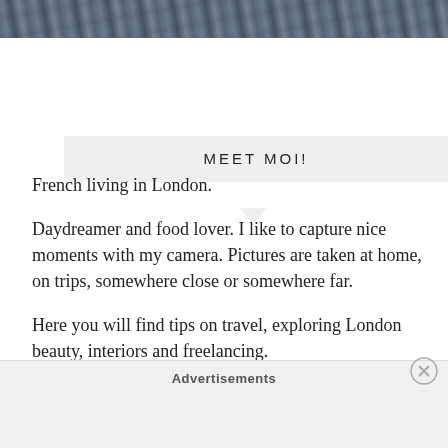[Figure (photo): Partial photo strip at top of page showing a rocky or textured surface in muted blue-grey tones]
MEET MOI!
French living in London.

Daydreamer and food lover. I like to capture nice moments with my camera. Pictures are taken at home, on trips, somewhere close or somewhere far.

Here you will find tips on travel, exploring London beauty, interiors and freelancing.

Bienvenue!
Advertisements